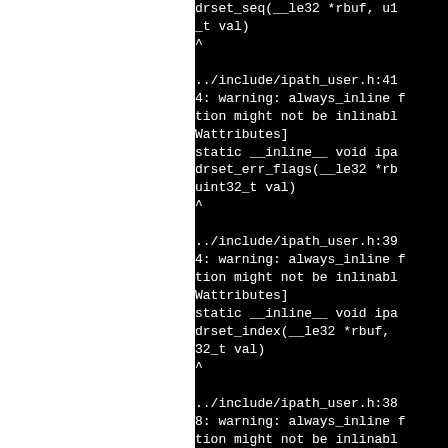[Figure (screenshot): Terminal/compiler output showing compiler warnings about always_inline functions that might not be inlinable, with C function signatures including drset_seq, drset_err_flags, and drset_index]
drset_seq(__le32 *rbuf, u1_t val)
^
../include/ipath_user.h:41
4: warning: always_inline func
tion might not be inlinabl
Wattributes]
static __inline__ void ipa
drset_err_flags(__le32 *rb
uint32_t val)
^
../include/ipath_user.h:39
4: warning: always_inline func
tion might not be inlinabl
Wattributes]
static __inline__ void ipa
drset_index(__le32 *rbuf,
32_t val)
^
../include/ipath_user.h:38
8: warning: always_inline func
tion might not be inlinabl
Wattributes]
static __inline__ uint32